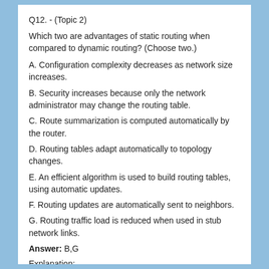Q12. - (Topic 2)
Which two are advantages of static routing when compared to dynamic routing? (Choose two.)
A. Configuration complexity decreases as network size increases.
B. Security increases because only the network administrator may change the routing table.
C. Route summarization is computed automatically by the router.
D. Routing tables adapt automatically to topology changes.
E. An efficient algorithm is used to build routing tables, using automatic updates.
F. Routing updates are automatically sent to neighbors.
G. Routing traffic load is reduced when used in stub network links.
Answer: B,G
Explanation:
When reading (or being lectured about) all the glorious details of dynamic routing protocols, it's hard not to come away with the impression that dynamic routing is always better than static routing. It's important to keep in mind that the primary duty of a dynamic routing protocol is to automatically detect and adapt to